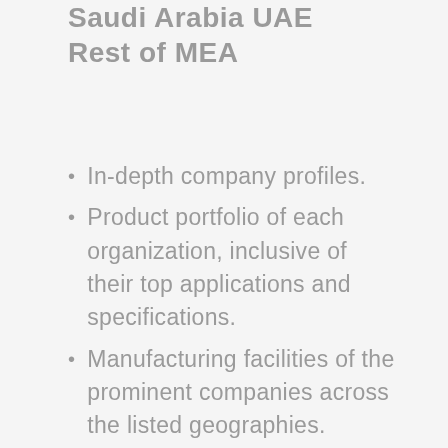Saudi Arabia UAE Rest of MEA
In-depth company profiles.
Product portfolio of each organization, inclusive of their top applications and specifications.
Manufacturing facilities of the prominent companies across the listed geographies.